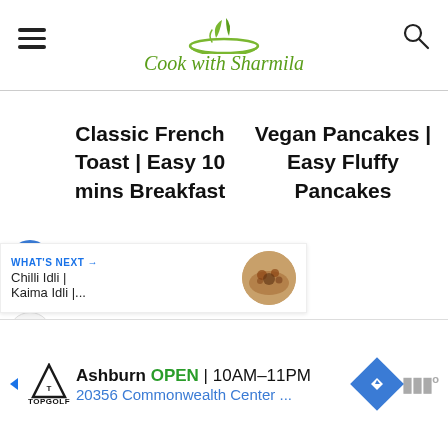[Figure (logo): Cook with Sharmila logo with green leaf and bowl icon, and green italic text 'Cook with Sharmila']
Classic French Toast | Easy 10 mins Breakfast
Vegan Pancakes | Easy Fluffy Pancakes
[Figure (infographic): Social sidebar with heart/like button (blue circle), like count 8, and share button]
[Figure (infographic): What's Next banner: 'Chilli Idli | Kaima Idli |...' with circular food thumbnail]
[Figure (infographic): Topgolf advertisement: Ashburn OPEN 10AM-11PM, 20356 Commonwealth Center...]